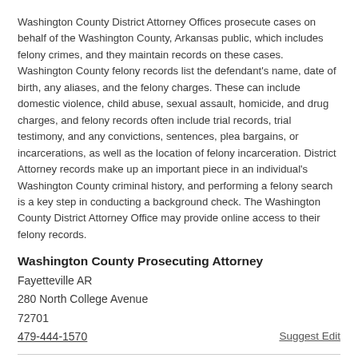Washington County District Attorney Offices prosecute cases on behalf of the Washington County, Arkansas public, which includes felony crimes, and they maintain records on these cases. Washington County felony records list the defendant's name, date of birth, any aliases, and the felony charges. These can include domestic violence, child abuse, sexual assault, homicide, and drug charges, and felony records often include trial records, trial testimony, and any convictions, sentences, plea bargains, or incarcerations, as well as the location of felony incarceration. District Attorney records make up an important piece in an individual's Washington County criminal history, and performing a felony search is a key step in conducting a background check. The Washington County District Attorney Office may provide online access to their felony records.
Washington County Prosecuting Attorney
Fayetteville AR
280 North College Avenue
72701
479-444-1570